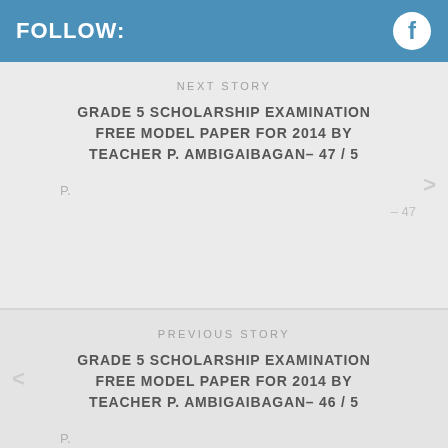FOLLOW:
NEXT STORY
GRADE 5 SCHOLARSHIP EXAMINATION FREE MODEL PAPER FOR 2014 BY TEACHER P. AMBIGAIBAGAN– 47 / 5
P.
– 47
PREVIOUS STORY
GRADE 5 SCHOLARSHIP EXAMINATION FREE MODEL PAPER FOR 2014 BY TEACHER P. AMBIGAIBAGAN– 46 / 5
P.
– 46